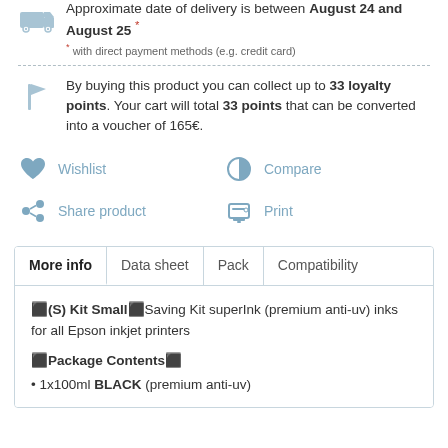Approximate date of delivery is between August 24 and August 25 * with direct payment methods (e.g. credit card)
By buying this product you can collect up to 33 loyalty points. Your cart will total 33 points that can be converted into a voucher of 165€.
Wishlist
Compare
Share product
Print
More info | Data sheet | Pack | Compatibility
•(S) Kit Small•Saving Kit superInk (premium anti-uv) inks for all Epson inkjet printers
•Package Contents•
1x100ml BLACK (premium anti-uv)